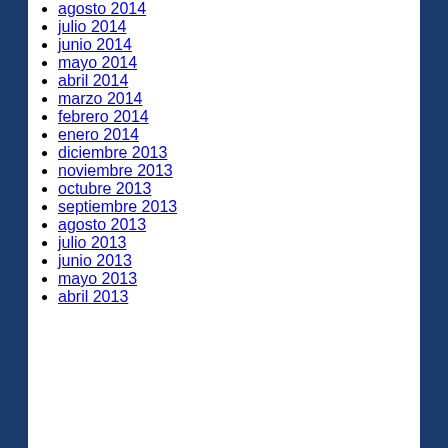agosto 2014
julio 2014
junio 2014
mayo 2014
abril 2014
marzo 2014
febrero 2014
enero 2014
diciembre 2013
noviembre 2013
octubre 2013
septiembre 2013
agosto 2013
julio 2013
junio 2013
mayo 2013
abril 2013
Privacidad y cookies: este sitio utiliza cookies. Al continuar utilizando
h, aceptas su uso.
[Figure (screenshot): Wayfair advertisement banner: Top Appliances Low Prices with stove image and Shop now button]